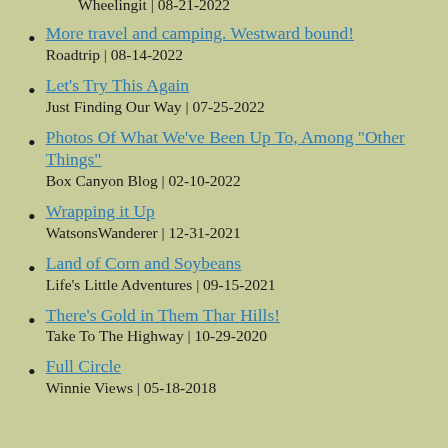Wheelingit | 08-21-2022
More travel and camping. Westward bound!
Roadtrip | 08-14-2022
Let's Try This Again
Just Finding Our Way | 07-25-2022
Photos Of What We've Been Up To, Among "Other Things"
Box Canyon Blog | 02-10-2022
Wrapping it Up
WatsonsWanderer | 12-31-2021
Land of Corn and Soybeans
Life's Little Adventures | 09-15-2021
There's Gold in Them Thar Hills!
Take To The Highway | 10-29-2020
Full Circle
Winnie Views | 05-18-2018